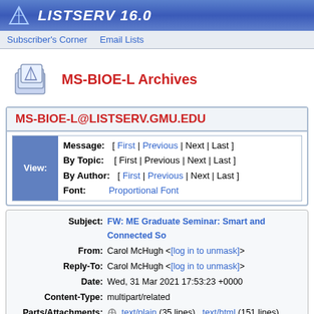LISTSERV 16.0
Subscriber's Corner  Email Lists
MS-BIOE-L Archives
MS-BIOE-L@LISTSERV.GMU.EDU
|  |  |
| --- | --- |
| Message: | [ First | Previous | Next | Last ] |
| By Topic: | [ First | Previous | Next | Last ] |
| By Author: | [ First | Previous | Next | Last ] |
| Font: | Proportional Font |
| Subject: | FW: ME Graduate Seminar: Smart and Connected So... |
| From: | Carol McHugh <[log in to unmask]> |
| Reply-To: | Carol McHugh <[log in to unmask]> |
| Date: | Wed, 31 Mar 2021 17:53:23 +0000 |
| Content-Type: | multipart/related |
| Parts/Attachments: | text/plain (35 lines) , text/html (151 lines) , image0... (151 lines) , image004.jpg (151 lines) |
See speaker announcement below